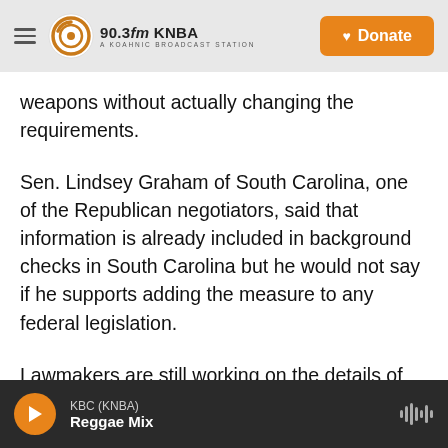90.3fm KNBA — A KOAHNIC BROADCAST STATION | Donate
weapons without actually changing the requirements.
Sen. Lindsey Graham of South Carolina, one of the Republican negotiators, said that information is already included in background checks in South Carolina but he would not say if he supports adding the measure to any federal legislation.
Lawmakers are still working on the details of how to fund the programs in the bill and whether Republicans will require the money to be offset with cuts to spending on other programs.
KBC (KNBA) — Reggae Mix